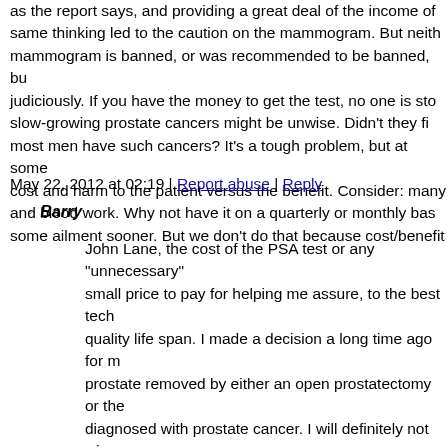as the report says, and providing a great deal of the income of same thinking led to the caution on the mammogram. But neith mammogram is banned, or was recommended to be banned, bu judiciously. If you have the money to get the test, no one is sto slow-growing prostate cancers might be unwise. Didn't they fi most men have such cancers? It's a tough problem, but at some cost and harm to the patient versus the benefit. Consider: many and blood work. Why not have it on a quarterly or monthly bas some ailment sooner. But we don't do that because cost/benefit
May 22, 2012 at 02:19 | Report abuse | Reply
Barry
John Lane, the cost of the PSA test or any "unnecessary" small price to pay for helping me assure, to the best tech quality life span. I made a decision a long time ago for m prostate removed by either an open prostatectomy or the diagnosed with prostate cancer. I will definitely not wim least for me) like watchful waiting or seeds if I am in oth other life threatening issue. These are decisions I made f certainly not the right decision for everyone but you con know whats best for everyone. That is exactly why I thir emotional content to most of these posts because the me individuals like myself what is best for them. What is be high quality of life, is to take the most conservative app